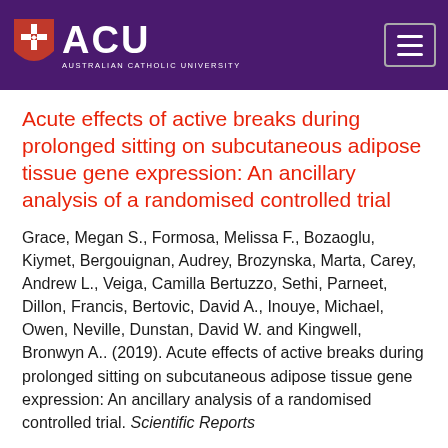[Figure (logo): ACU - Australian Catholic University logo: red shield with cross on left, white ACU lettering, white subtitle text 'AUSTRALIAN CATHOLIC UNIVERSITY']
Acute effects of active breaks during prolonged sitting on subcutaneous adipose tissue gene expression: An ancillary analysis of a randomised controlled trial
Grace, Megan S., Formosa, Melissa F., Bozaoglu, Kiymet, Bergouignan, Audrey, Brozynska, Marta, Carey, Andrew L., Veiga, Camilla Bertuzzo, Sethi, Parneet, Dillon, Francis, Bertovic, David A., Inouye, Michael, Owen, Neville, Dunstan, David W. and Kingwell, Bronwyn A.. (2019). Acute effects of active breaks during prolonged sitting on subcutaneous adipose tissue gene expression: An ancillary analysis of a randomised controlled trial. Scientific Reports